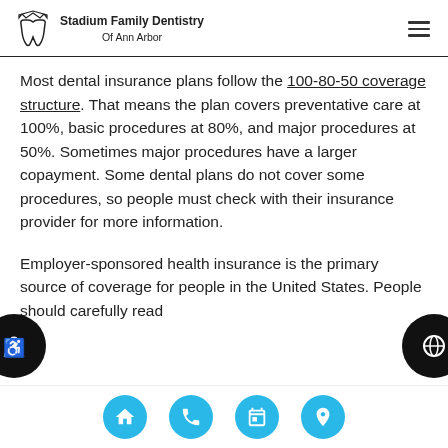Stadium Family Dentistry Of Ann Arbor
Most dental insurance plans follow the 100-80-50 coverage structure. That means the plan covers preventative care at 100%, basic procedures at 80%, and major procedures at 50%. Sometimes major procedures have a larger copayment. Some dental plans do not cover some procedures, so people must check with their insurance provider for more information.
Employer-sponsored health insurance is the primary source of coverage for people in the United States. People should carefully read